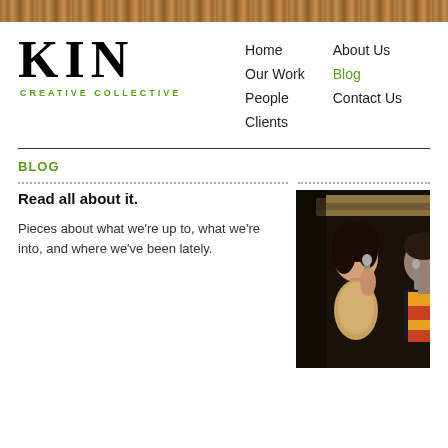[Figure (other): Wood texture decorative header bar]
KIN CREATIVE COLLECTIVE
Home | Our Work | People | Clients | About Us | Blog | Contact Us
BLOG
Read all about it.
Pieces about what we're up to, what we're into, and where we've been lately.
[Figure (photo): Two people singing into microphones at what appears to be a karaoke or live music event. A woman with dark hair in a sparkly top and a man in a colorful striped scarf are holding microphones.]